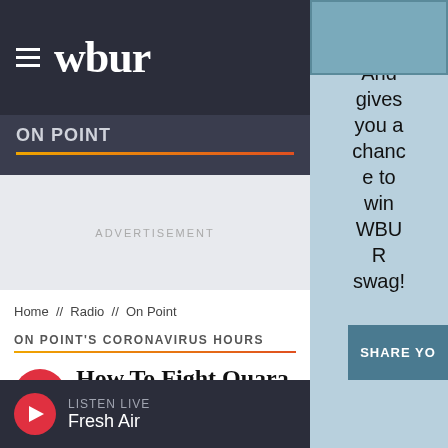wbur
ON POINT
ADVERTISEMENT
Home // Radio // On Point
ON POINT'S CORONAVIRUS HOURS
How To Fight Quarantine Fatigue
47:31
LISTEN LIVE
Fresh Air
serve you. And gives you a chance to win WBUR swag!
SHARE YO